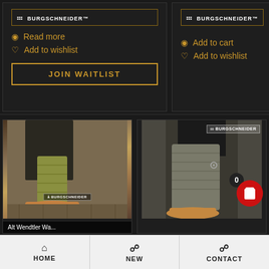[Figure (screenshot): E-commerce product listing page for Burgschneider brand, dark background. Top-left card shows brand logo, 'Read more' link, 'Add to wishlist' link, and a 'JOIN WAITLIST' button. Top-right card shows brand logo, 'Add to cart' link, 'Add to wishlist' link. Bottom-left card shows product photo of medieval shoes with yellow-green leg wrappings and tan leather shoes on cobblestone. Bottom-right card shows product photo of grey wool leggings with tan leather shoes. A shopping cart bubble with count '0' appears at bottom right of page. Bottom navigation bar with HOME, NEW, CONTACT.]